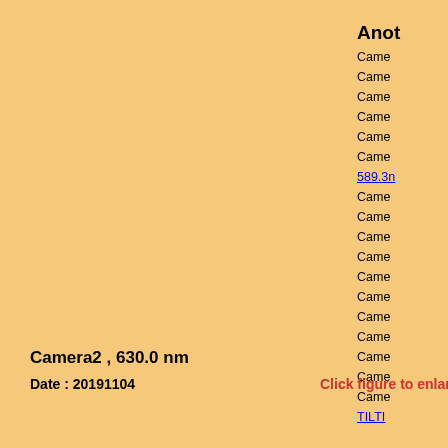Anot
Came
Came
Came
Came
Came
Came
589.3n
Came
Came
Came
Came
Came
Came
Came
Came
Came
Came
Came
Came
TILTI
Camera2 , 630.0 nm
Date : 20191104
Click figure to enlarge